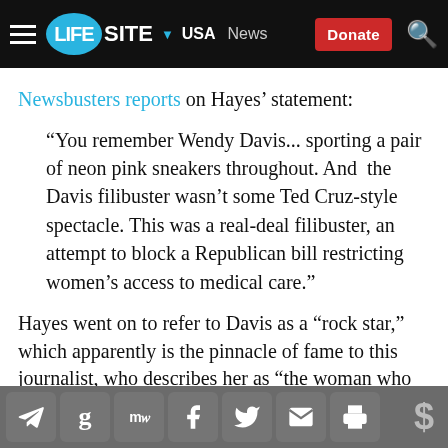LIFESITE — USA — News — Donate
Newsbusters reports on Hayes' statement:
“You remember Wendy Davis... sporting a pair of neon pink sneakers throughout. And the Davis filibuster wasn’t some Ted Cruz-style spectacle. This was a real-deal filibuster, an attempt to block a Republican bill restricting women’s access to medical care.”
Hayes went on to refer to Davis as a “rock star,” which apparently is the pinnacle of fame to this journalist, who describes her as “the woman who waged an epic 11-hour filibuster to temporarily block a Republican
Share icons: Telegram, Google, MediaWatch, Facebook, Twitter, Email, Print, Donate